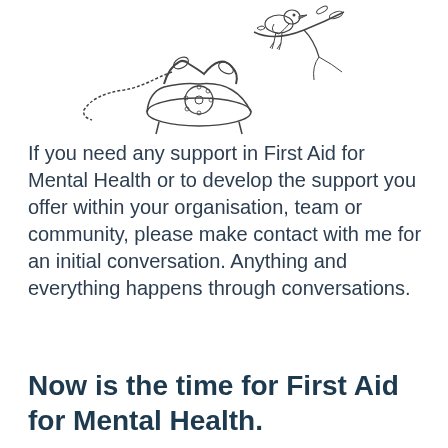[Figure (illustration): Pencil sketch illustration of a vintage rotary telephone with a cord, and a bird perched on a branch above it, drawn in a hand-drawn style.]
If you need any support in First Aid for Mental Health or to develop the support you offer within your organisation, team or community, please make contact with me for an initial conversation. Anything and everything happens through conversations.
Now is the time for First Aid for Mental Health.